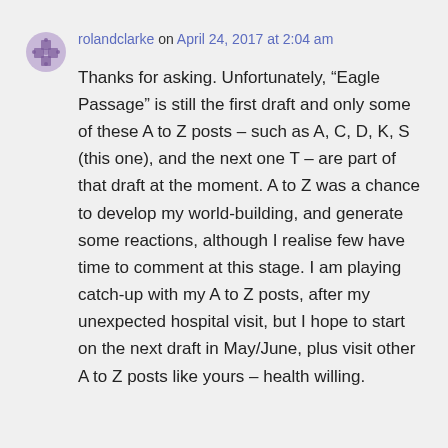rolandclarke on April 24, 2017 at 2:04 am
Thanks for asking. Unfortunately, “Eagle Passage” is still the first draft and only some of these A to Z posts – such as A, C, D, K, S (this one), and the next one T – are part of that draft at the moment. A to Z was a chance to develop my world-building, and generate some reactions, although I realise few have time to comment at this stage. I am playing catch-up with my A to Z posts, after my unexpected hospital visit, but I hope to start on the next draft in May/June, plus visit other A to Z posts like yours – health willing.